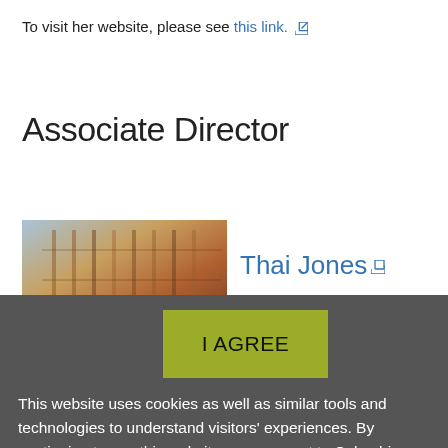To visit her website, please see this link.
Associate Director
[Figure (photo): Partial photo of Thai Jones showing a library/bookshelf background]
Thai Jones
I AGREE
This website uses cookies as well as similar tools and technologies to understand visitors' experiences. By continuing to use this website, you consent to Columbia University's usage of cookies and similar technologies, in accordance with the Columbia University Website Cookie Notice.